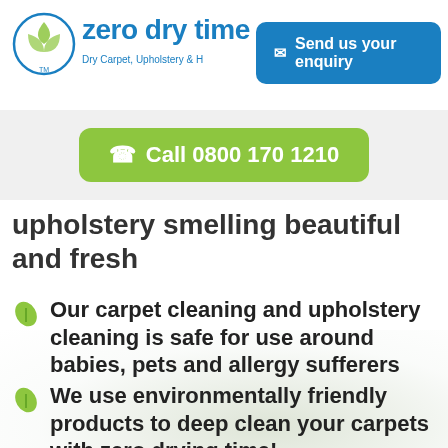[Figure (logo): Zero Dry Time logo with circular icon and tagline 'Dry Carpet, Upholstery & H...']
[Figure (other): Blue rounded button saying 'Send us your enquiry' with envelope icon]
[Figure (other): Green rounded button saying 'Call 0800 170 1210' with phone icon on grey background]
upholstery smelling beautiful and fresh
Our carpet cleaning and upholstery cleaning is safe for use around babies, pets and allergy sufferers
We use environmentally friendly products to deep clean your carpets with zero drying time!